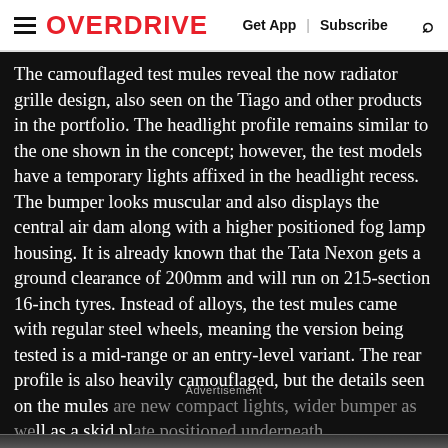OVERDRIVE | Get App | Subscribe
The camouflaged test mules reveal the now radiator grille design, also seen on the Tiago and other products in the portfolio. The headlight profile remains similar to the one shown in the concept; however, the test models have a temporary lights affixed in the headlight recess. The bumper looks muscular and also displays the central air dam along with a higher positioned fog lamp housing. It is already known that the Tata Nexon gets a ground clearance of 200mm and will run on 215-section 16-inch tyres. Instead of alloys, the test mules came with regular steel wheels, meaning the version being tested is a mid-range or an entry-level variant. The rear profile is also heavily camouflaged, but the details seen on the mules are new compact lights, wider bumper as well as a skid plate positioned underneath.